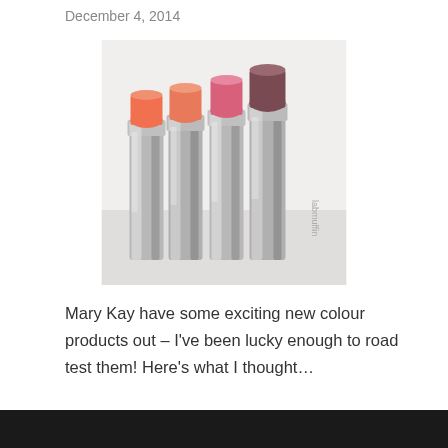December 4, 2014
[Figure (photo): Four lipstick tubes in shades of coral, peach, pink, and mauve/brown, with silver metallic casings, arranged in a row. Watermark 'labmuffin' visible on right side.]
Mary Kay have some exciting new colour products out – I've been lucky enough to road test them! Here's what I thought…